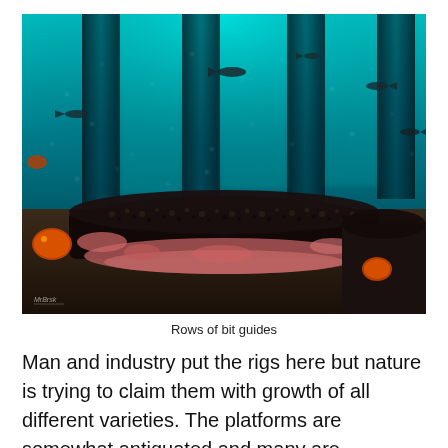[Figure (photo): Underwater photograph showing rows of bit guides (cylindrical structures) covered in dense marine encrustation — mussels, barnacles, pink coralline algae — viewed close-up from below. The background shows blue-green water with large structural columns rising toward the light surface, with several fish (small dark fish and orange rockfish) swimming around. Photographer watermark visible in lower left corner.]
Rows of bit guides
Man and industry put the rigs here but nature is trying to claim them with growth of all different varieties. The platforms are somewhat antiquated and many are